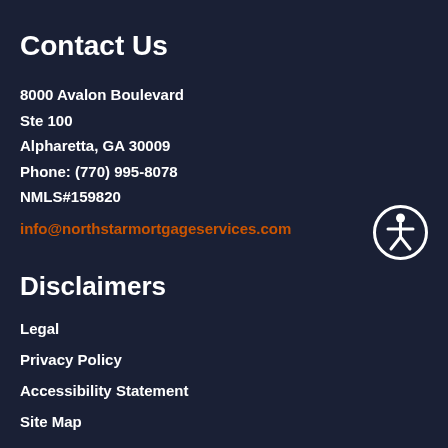Contact Us
8000 Avalon Boulevard
Ste 100
Alpharetta, GA 30009
Phone: (770) 995-8078
NMLS#159820
info@northstarmortgageservices.com
[Figure (illustration): Accessibility icon - circle with person figure inside]
Disclaimers
Legal
Privacy Policy
Accessibility Statement
Site Map